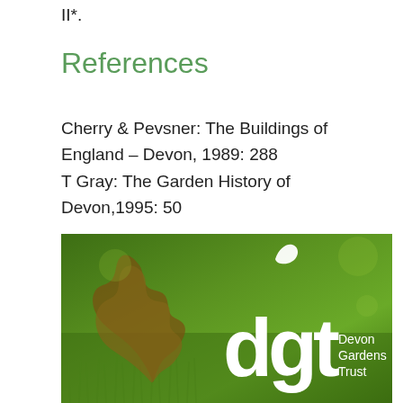II*.
References
Cherry & Pevsner: The Buildings of England – Devon, 1989: 288
T Gray: The Garden History of Devon,1995: 50
[Figure (logo): Devon Gardens Trust logo on green background with leaf imagery. Shows 'dgt' in large white bold letters with a leaf icon, and 'Devon Gardens Trust' text to the right, over a green grassy/leaf background.]